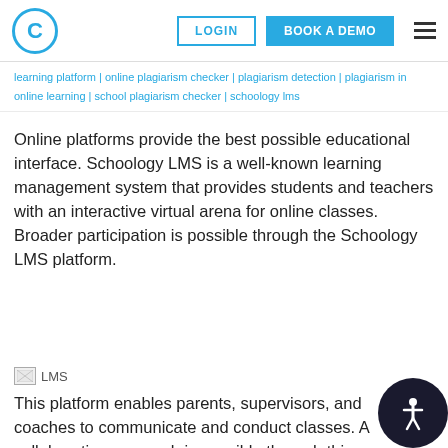C | LOGIN | BOOK A DEMO
learning platform | online plagiarism checker | plagiarism detection | plagiarism in online learning | school plagiarism checker | schoology lms
Online platforms provide the best possible educational interface. Schoology LMS is a well-known learning management system that provides students and teachers with an interactive virtual arena for online classes. Broader participation is possible through the Schoology LMS platform.
[Figure (photo): Broken image placeholder labelled LMS]
This platform enables parents, supervisors, and coaches to communicate and conduct classes. A collaborative approach is possible through this